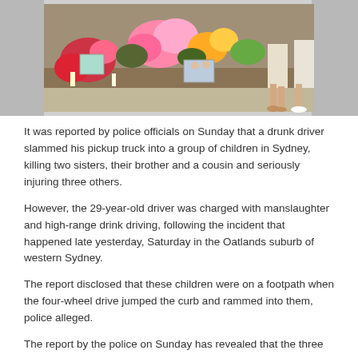[Figure (photo): A memorial scene with colorful flowers, framed photos, and candles placed on the ground. Two people are visible at the right side of the image, one wearing a light dress and sandals.]
It was reported by police officials on Sunday that a drunk driver slammed his pickup truck into a group of children in Sydney, killing two sisters, their brother and a cousin and seriously injuring three others.
However, the 29-year-old driver was charged with manslaughter and high-range drink driving, following the incident that happened late yesterday, Saturday in the Oatlands suburb of western Sydney.
The report disclosed that these children were on a footpath when the four-wheel drive jumped the curb and rammed into them, police alleged.
The report by the police on Sunday has revealed that the three